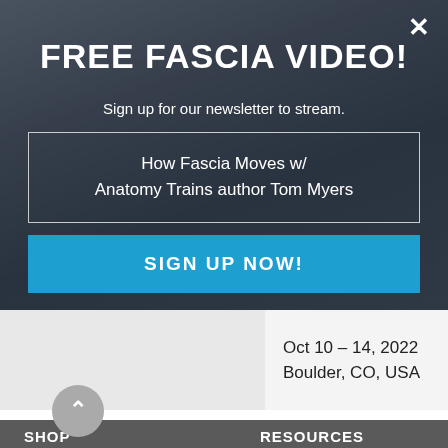FREE FASCIA VIDEO!
Sign up for our newsletter to stream.
How Fascia Moves w/ Anatomy Trains author Tom Myers
SIGN UP NOW!
Oct 10 – 14, 2022
Boulder, CO, USA
SHOP
RESOURCES